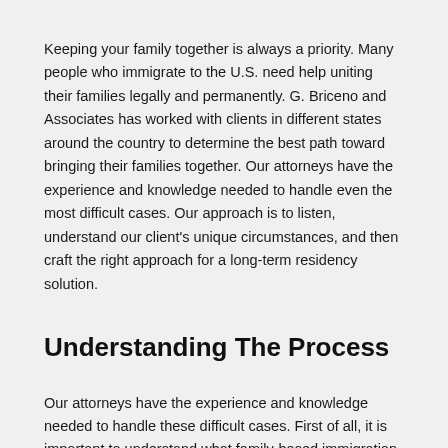Keeping your family together is always a priority. Many people who immigrate to the U.S. need help uniting their families legally and permanently. G. Briceno and Associates has worked with clients in different states around the country to determine the best path toward bringing their families together. Our attorneys have the experience and knowledge needed to handle even the most difficult cases. Our approach is to listen, understand our client's unique circumstances, and then craft the right approach for a long-term residency solution.
Understanding The Process
Our attorneys have the experience and knowledge needed to handle these difficult cases. First of all, it is important to understand what family-based immigration is and how it works. It requires at least two family members; one is known as a petitioner and one is known as a beneficiary. The petitioner has to be either a U.S. citizen or a lawful permanent resident. The